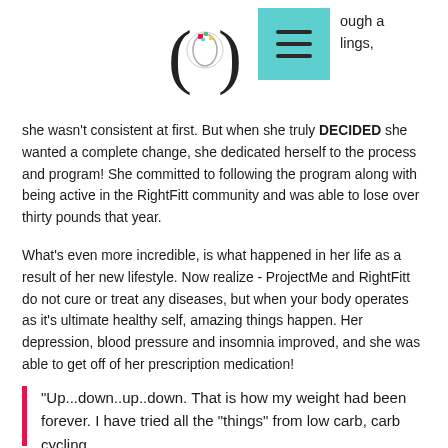…ugh a things,
she wasn't consistent at first.  But when she truly DECIDED she wanted a complete change, she dedicated herself to the process and program!  She committed to following the program along with being active in the RightFitt community and was able to lose over thirty pounds that year.
What's even more incredible, is what happened in her life as a result of her new lifestyle.  Now realize - ProjectMe and RightFitt do not cure or treat any diseases, but when your body operates as it's ultimate healthy self, amazing things happen.  Her depression, blood pressure and insomnia improved, and she was able to get off of her prescription medication!
“Up...down..up..down. That is how my weight had been forever. I have tried all the "things" from low carb, carb cycling, moderate carb, fasting, counting…